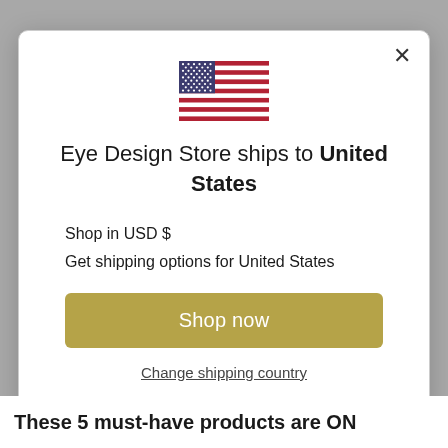[Figure (illustration): US flag icon centered in modal]
Eye Design Store ships to United States
Shop in USD $
Get shipping options for United States
Shop now
Change shipping country
These 5 must-have products are ON